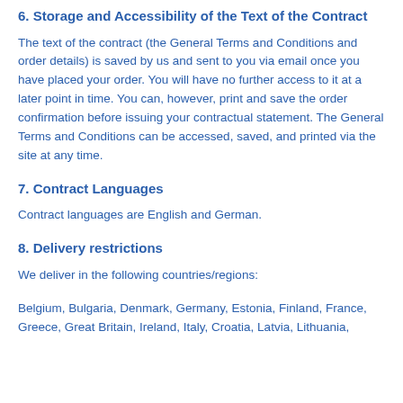6. Storage and Accessibility of the Text of the Contract
The text of the contract (the General Terms and Conditions and order details) is saved by us and sent to you via email once you have placed your order. You will have no further access to it at a later point in time. You can, however, print and save the order confirmation before issuing your contractual statement. The General Terms and Conditions can be accessed, saved, and printed via the site at any time.
7. Contract Languages
Contract languages are English and German.
8. Delivery restrictions
We deliver in the following countries/regions:
Belgium, Bulgaria, Denmark, Germany, Estonia, Finland, France, Greece, Great Britain, Ireland, Italy, Croatia, Latvia, Lithuania,